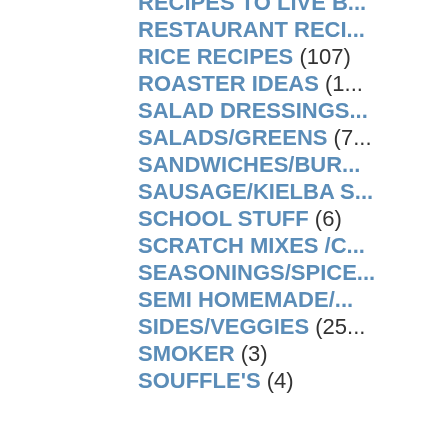RECIPES TO LIVE B...
RESTAURANT RECI...
RICE RECIPES (107)
ROASTER IDEAS (1...
SALAD DRESSINGS...
SALADS/GREENS (7...
SANDWICHES/BUR...
SAUSAGE/KIELBA S...
SCHOOL STUFF (6)
SCRATCH MIXES /C...
SEASONINGS/SPICE...
SEMI HOMEMADE/...
SIDES/VEGGIES (25...
SMOKER (3)
SOUFFLE'S (4)